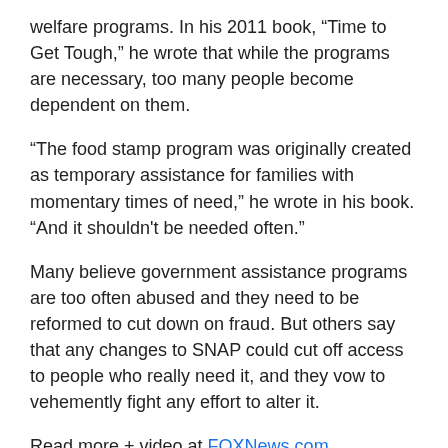welfare programs. In his 2011 book, “Time to Get Tough,” he wrote that while the programs are necessary, too many people become dependent on them.
“The food stamp program was originally created as temporary assistance for families with momentary times of need,” he wrote in his book. “And it shouldn't be needed often.”
Many believe government assistance programs are too often abused and they need to be reformed to cut down on fraud. But others say that any changes to SNAP could cut off access to people who really need it, and they vow to vehemently fight any effort to alter it.
Read more + video at FOXNews.com